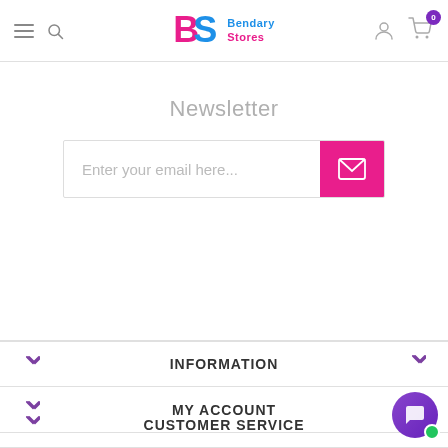Bendary Stores – navigation header with hamburger menu, search, logo, account and cart icons
Newsletter
Enter your email here...
INFORMATION
MY ACCOUNT
CUSTOMER SERVICE